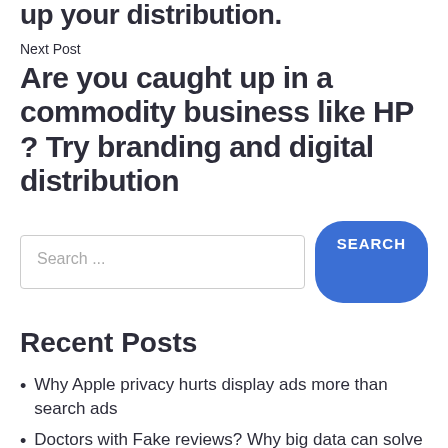up your distribution.
Next Post
Are you caught up in a commodity business like HP ? Try branding and digital distribution
Search...
Recent Posts
Why Apple privacy hurts display ads more than search ads
Doctors with Fake reviews? Why big data can solve the problem